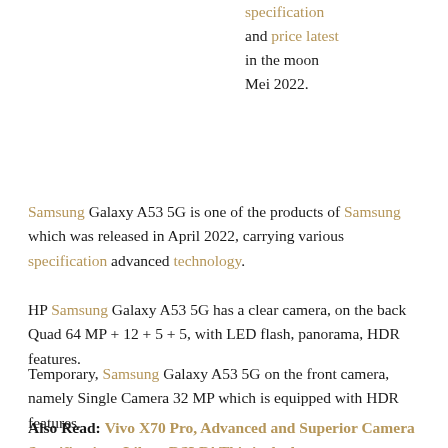specification and price latest in the moon Mei 2022.
Samsung Galaxy A53 5G is one of the products of Samsung which was released in April 2022, carrying various specification advanced technology.
HP Samsung Galaxy A53 5G has a clear camera, on the back Quad 64 MP + 12 + 5 + 5, with LED flash, panorama, HDR features.
Temporary, Samsung Galaxy A53 5G on the front camera, namely Single Camera 32 MP which is equipped with HDR features.
Also Read: Vivo X70 Pro, Advanced and Superior Camera Specifications Like a DSLR! This is the latest